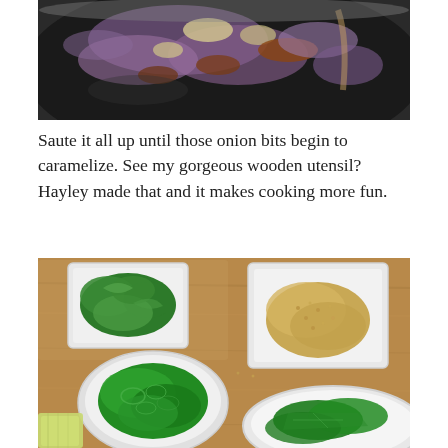[Figure (photo): Close-up overhead shot of a pan with diced red onions, bacon bits, and minced garlic being sautéed.]
Saute it all up until those onion bits begin to caramelize. See my gorgeous wooden utensil? Hayley made that and it makes cooking more fun.
[Figure (photo): Overhead shot of various garnish ingredients on a wooden cutting board: a square white bowl with fresh cilantro, a square white bowl with sesame seeds or breadcrumbs, a round white bowl with sliced green onions, a white plate with large green basil or mint leaves, and a piece of lemongrass.]